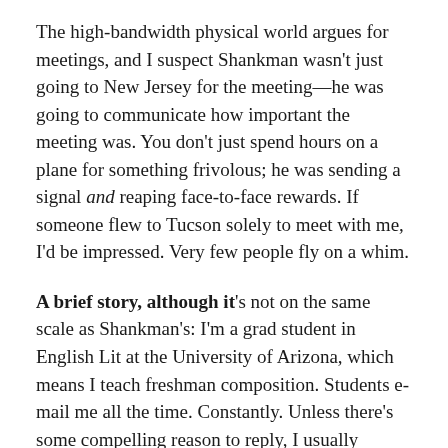The high-bandwidth physical world argues for meetings, and I suspect Shankman wasn't just going to New Jersey for the meeting—he was going to communicate how important the meeting was. You don't just spend hours on a plane for something frivolous; he was sending a signal and reaping face-to-face rewards. If someone flew to Tucson solely to meet with me, I'd be impressed. Very few people fly on a whim.
A brief story, although it's not on the same scale as Shankman's: I'm a grad student in English Lit at the University of Arizona, which means I teach freshman composition. Students e-mail me all the time. Constantly. Unless there's some compelling reason to reply, I usually answer their emails in class; if they want or need a longish explanation, I tell them to come to office hours (note: if they can't make office hours, I also do office hours by appointment, so...